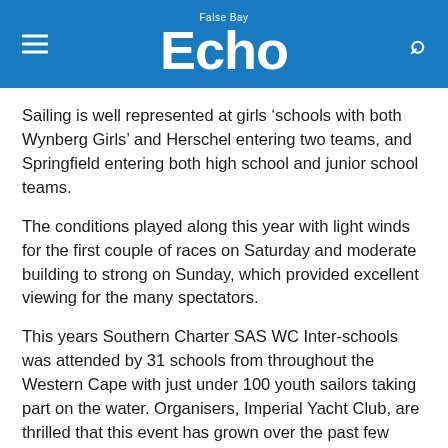False Bay Echo
Sailing is well represented at girls ‘schools with both Wynberg Girls’ and Herschel entering two teams, and Springfield entering both high school and junior school teams.
The conditions played along this year with light winds for the first couple of races on Saturday and moderate building to strong on Sunday, which provided excellent viewing for the many spectators.
This years Southern Charter SAS WC Inter-schools was attended by 31 schools from throughout the Western Cape with just under 100 youth sailors taking part on the water. Organisers, Imperial Yacht Club, are thrilled that this event has grown over the past few years and that youth sailing is